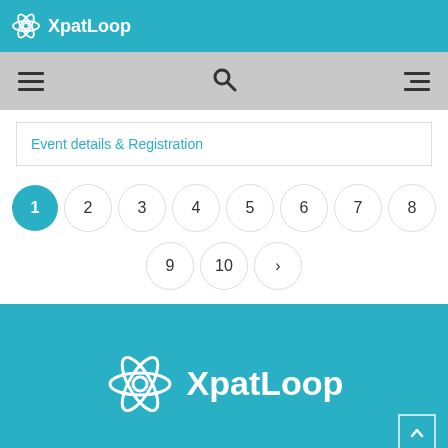XpatLoop
[Figure (screenshot): Navigation bar with hamburger menu, search icon, and right-aligned menu icon on grey background]
Event details & Registration
[Figure (other): Pagination controls: pages 1 (active/teal), 2, 3, 4, 5, 6, 7, 8 on first row; 9, 10, > on second row]
[Figure (logo): XpatLoop logo in white on teal background with atom icon]